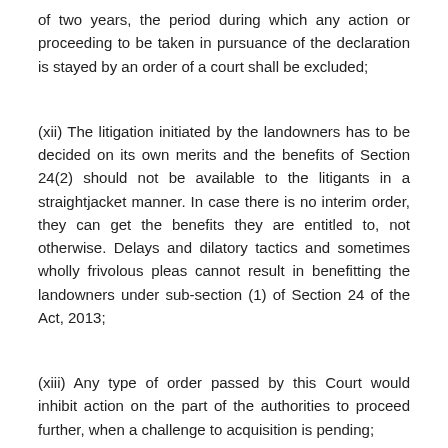of two years, the period during which any action or proceeding to be taken in pursuance of the declaration is stayed by an order of a court shall be excluded;
(xii) The litigation initiated by the landowners has to be decided on its own merits and the benefits of Section 24(2) should not be available to the litigants in a straightjacket manner. In case there is no interim order, they can get the benefits they are entitled to, not otherwise. Delays and dilatory tactics and sometimes wholly frivolous pleas cannot result in benefitting the landowners under sub-section (1) of Section 24 of the Act, 2013;
(xiii) Any type of order passed by this Court would inhibit action on the part of the authorities to proceed further, when a challenge to acquisition is pending;